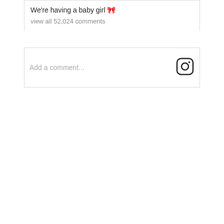We're having a baby girl 🎀
view all 52,024 comments
Add a comment...